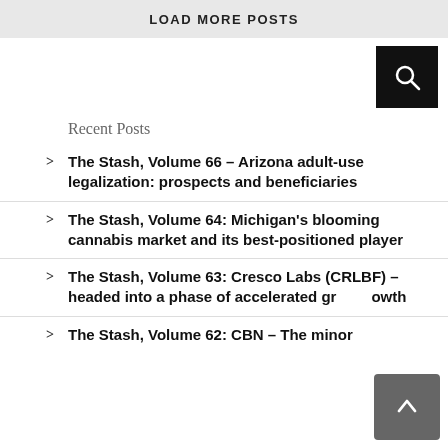LOAD MORE POSTS
Recent Posts
The Stash, Volume 66 – Arizona adult-use legalization: prospects and beneficiaries
The Stash, Volume 64: Michigan's blooming cannabis market and its best-positioned player
The Stash, Volume 63: Cresco Labs (CRLBF) – headed into a phase of accelerated growth
The Stash, Volume 62: CBN – The minor